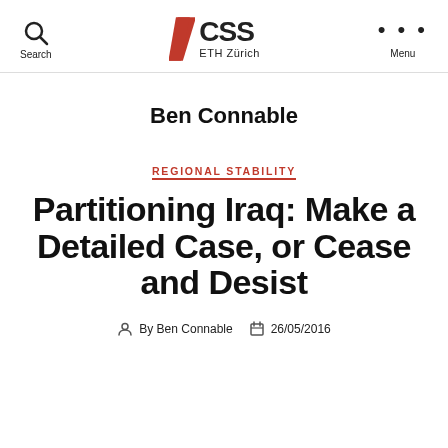CSS ETH Zürich — Search / Menu
Ben Connable
REGIONAL STABILITY
Partitioning Iraq: Make a Detailed Case, or Cease and Desist
By Ben Connable   26/05/2016